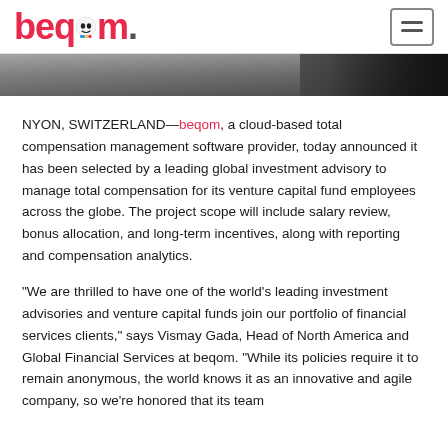beqom
[Figure (photo): Dark photo strip showing hands or people, used as a decorative banner image]
NYON, SWITZERLAND—beqom, a cloud-based total compensation management software provider, today announced it has been selected by a leading global investment advisory to manage total compensation for its venture capital fund employees across the globe. The project scope will include salary review, bonus allocation, and long-term incentives, along with reporting and compensation analytics.
“We are thrilled to have one of the world’s leading investment advisories and venture capital funds join our portfolio of financial services clients,” says Vismay Gada, Head of North America and Global Financial Services at beqom. “While its policies require it to remain anonymous, the world knows it as an innovative and agile company, so we’re honored that its team